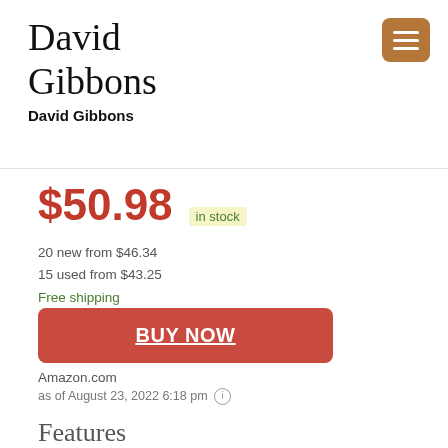David Gibbons
David Gibbons
$50.98  in stock
20 new from $46.34
15 used from $43.25
Free shipping
BUY NOW
Amazon.com
as of August 23, 2022 6:18 pm
Features
Built for endless adventure, the massive open